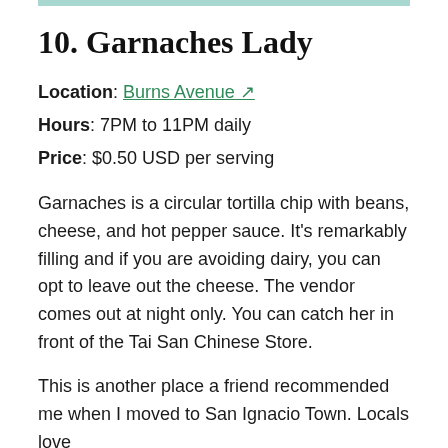10. Garnaches Lady
Location: Burns Avenue ↗
Hours: 7PM to 11PM daily
Price: $0.50 USD per serving
Garnaches is a circular tortilla chip with beans, cheese, and hot pepper sauce. It's remarkably filling and if you are avoiding dairy, you can opt to leave out the cheese. The vendor comes out at night only. You can catch her in front of the Tai San Chinese Store.
This is another place a friend recommended me when I moved to San Ignacio Town. Locals love